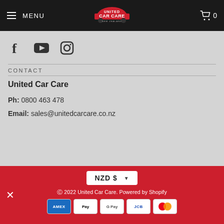MENU | United Car Care | 0
[Figure (logo): Social media icons: Facebook, YouTube, Instagram]
CONTACT
United Car Care
Ph: 0800 463 478
Email: sales@unitedcarcare.co.nz
NZD $ ▼ | © 2022 United Car Care. Powered by Shopify | AMEX, Apple Pay, Google Pay, JCB, Mastercard, PayPal, Visa